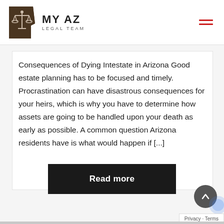MY AZ LEGAL TEAM
Consequences of Dying Intestate in Arizona Good estate planning has to be focused and timely. Procrastination can have disastrous consequences for your heirs, which is why you have to determine how assets are going to be handled upon your death as early as possible. A common question Arizona residents have is what would happen if [...]
Read more